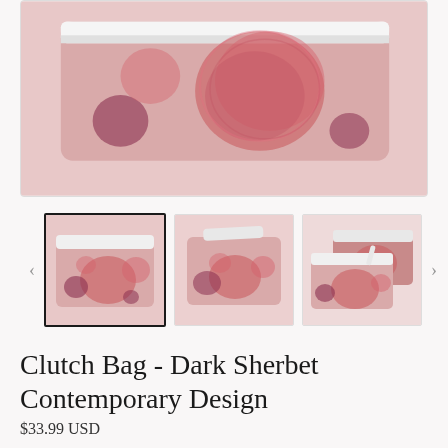[Figure (photo): Close-up top portion of a pink clutch bag with dark sherbet contemporary design pattern featuring rosy blobs and circles on a pink background]
[Figure (photo): Three thumbnail images of the Clutch Bag - Dark Sherbet Contemporary Design: first thumbnail selected (active) showing front view, second showing front view at slight angle, third showing two bags stacked]
Clutch Bag - Dark Sherbet Contemporary Design
$33.99 USD